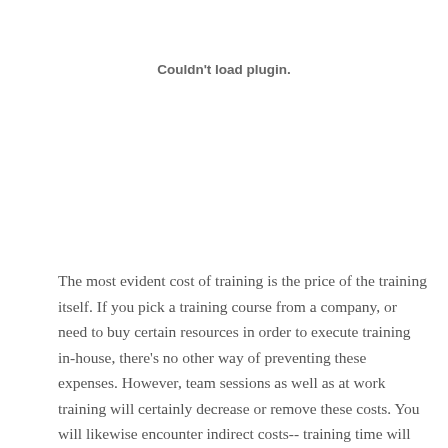Couldn't load plugin.
The most evident cost of training is the price of the training itself. If you pick a training course from a company, or need to buy certain resources in order to execute training in-house, there's no other way of preventing these expenses. However, team sessions as well as at work training will certainly decrease or remove these costs. You will likewise encounter indirect costs-- training time will inevitably have to come out of functioning